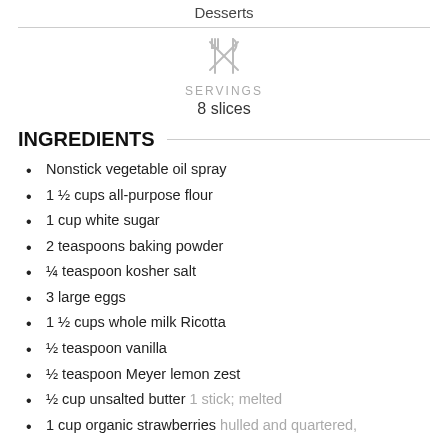Desserts
SERVINGS
8 slices
INGREDIENTS
Nonstick vegetable oil spray
1 ½ cups all-purpose flour
1 cup white sugar
2 teaspoons baking powder
¼ teaspoon kosher salt
3 large eggs
1 ½ cups whole milk Ricotta
½ teaspoon vanilla
½ teaspoon Meyer lemon zest
½ cup unsalted butter 1 stick; melted
1 cup organic strawberries hulled and quartered,